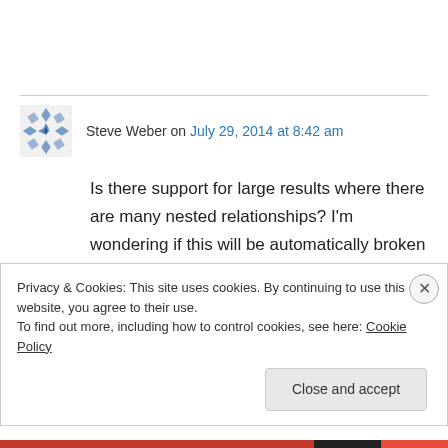Steve Weber on July 29, 2014 at 8:42 am
Is there support for large results where there are many nested relationships? I'm wondering if this will be automatically broken down into individual entities when persisted to cache. That would be a great help. My parent entity is too large to store in cache.
Privacy & Cookies: This site uses cookies. By continuing to use this website, you agree to their use.
To find out more, including how to control cookies, see here: Cookie Policy